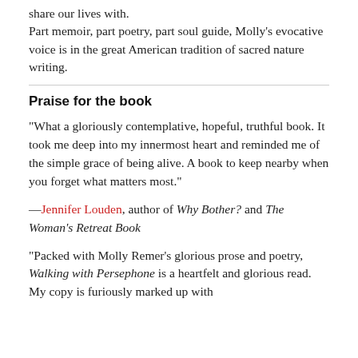share our lives with.
Part memoir, part poetry, part soul guide, Molly’s evocative voice is in the great American tradition of sacred nature writing.
Praise for the book
“What a gloriously contemplative, hopeful, truthful book. It took me deep into my innermost heart and reminded me of the simple grace of being alive. A book to keep nearby when you forget what matters most.”
—Jennifer Louden, author of Why Bother? and The Woman’s Retreat Book
“Packed with Molly Remer’s glorious prose and poetry, Walking with Persephone is a heartfelt and glorious read. My copy is furiously marked up with